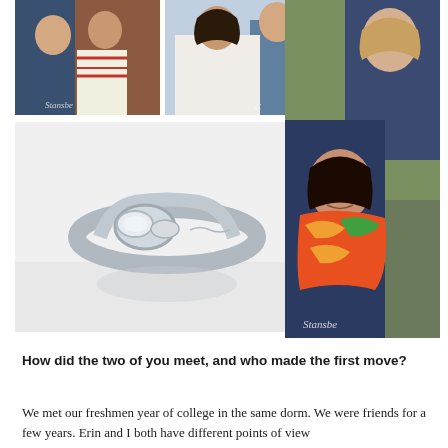[Figure (photo): Collage of five photos: top-left couple portrait, top-middle woman portrait, large right-side couple portrait with woman in orange scarf and man in blue jacket with Stansbe watermark, large bottom-left close-up of a diamond engagement ring (vintage style, bezel set, marquise accent), and the couple again on the right.]
How did the two of you meet, and who made the first move?
We met our freshmen year of college in the same dorm. We were friends for a few years. Erin and I both have different points of view